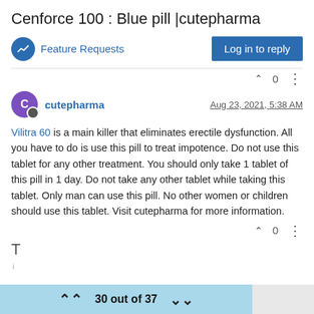Cenforce 100 : Blue pill |cutepharma
Feature Requests
Log in to reply
cutepharma
Aug 23, 2021, 5:38 AM
Vilitra 60 is a main killer that eliminates erectile dysfunction. All you have to do is use this pill to treat impotence. Do not use this tablet for any other treatment. You should only take 1 tablet of this pill in 1 day. Do not take any other tablet while taking this tablet. Only man can use this pill. No other women or children should use this tablet. Visit cutepharma for more information.
30 out of 37